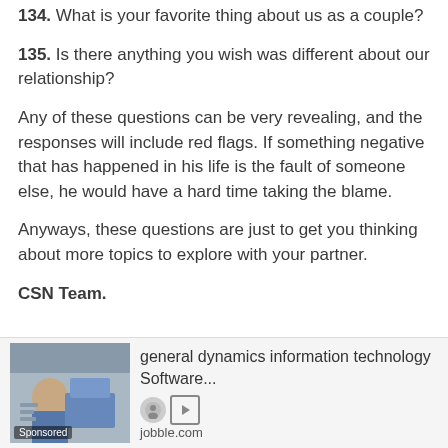134. What is your favorite thing about us as a couple?
135. Is there anything you wish was different about our relationship?
Any of these questions can be very revealing, and the responses will include red flags. If something negative that has happened in his life is the fault of someone else, he would have a hard time taking the blame.
Anyways, these questions are just to get you thinking about more topics to explore with your partner.
CSN Team.
[Figure (infographic): Advertisement banner for 'general dynamics information technology Software...' from jobble.com, showing a sponsored image of people working at computers, with icons and domain label.]